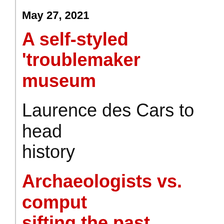May 27, 2021
A self-styled 'troublemaker' museum
Laurence des Cars to head history
Archaeologists vs. computers sifting the past
Asia Week New York 'LIVE' Installation and Display on